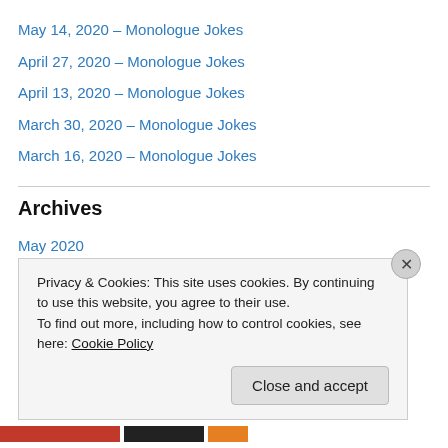May 14, 2020 – Monologue Jokes
April 27, 2020 – Monologue Jokes
April 13, 2020 – Monologue Jokes
March 30, 2020 – Monologue Jokes
March 16, 2020 – Monologue Jokes
Archives
May 2020
April 2020
March 2020
February 2020
Privacy & Cookies: This site uses cookies. By continuing to use this website, you agree to their use. To find out more, including how to control cookies, see here: Cookie Policy